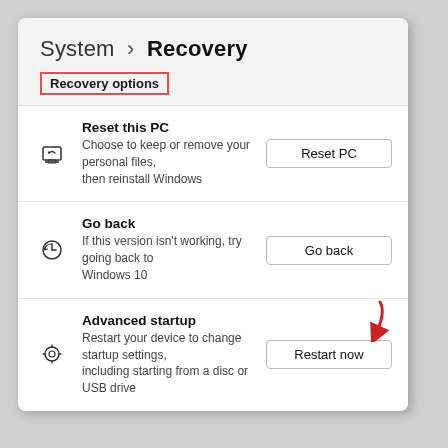System > Recovery
Recovery options
[Figure (screenshot): Windows 11 Settings panel showing System > Recovery options with three items: Reset this PC, Go back, and Advanced startup. A red arrow annotation points to the Restart now button.]